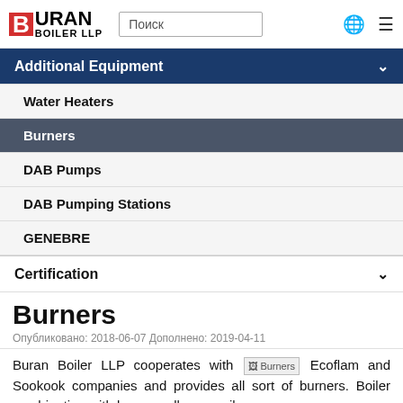[Figure (logo): Buran Boiler LLP logo with red B and search box and navigation icons]
Additional Equipment (with chevron)
Water Heaters
Burners (highlighted/active)
DAB Pumps
DAB Pumping Stations
GENEBRE
Certification (with chevron)
Burners
Опубликовано: 2018-06-07 Дополнено: 2019-04-11
Buran Boiler LLP cooperates with [Burners image] Ecoflam and Sookook companies and provides all sort of burners. Boiler combination with burners allows easily